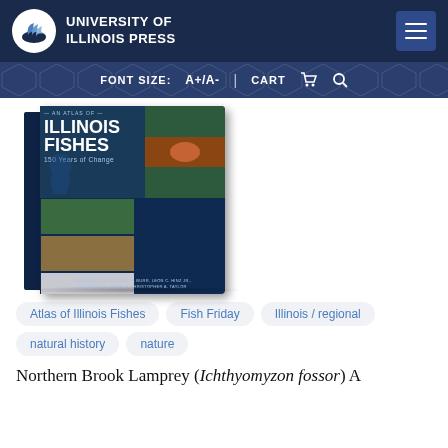University of Illinois Press
FONT SIZE: A+/A- | CART 🛒 🔍
[Figure (photo): Book cover of 'An Atlas of Illinois Fishes: 150 Years of Change' by Brian Metzke, Brooks M. Burr, Leon C. Hinz Jr., Lawrence M. Page, & Christopher A. Taylor. Cover shows multiple fish photos on a dark blue background.]
Atlas of Illinois Fishes
Fish Friday
Illinois / regional
natural history
nature
Northern Brook Lamprey (Ichthyomyzon fossor) A